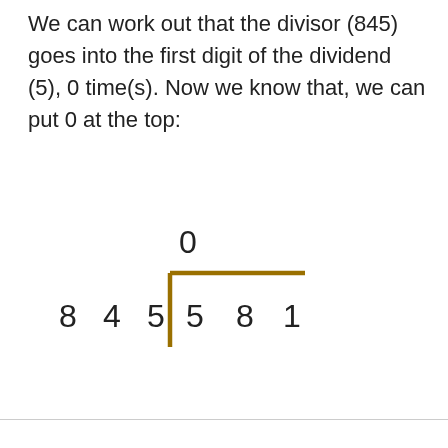We can work out that the divisor (845) goes into the first digit of the dividend (5), 0 time(s). Now we know that, we can put 0 at the top:
[Figure (math-figure): Long division diagram showing 845 dividing 581, with 0 written above the division bracket over the first digit of the dividend.]